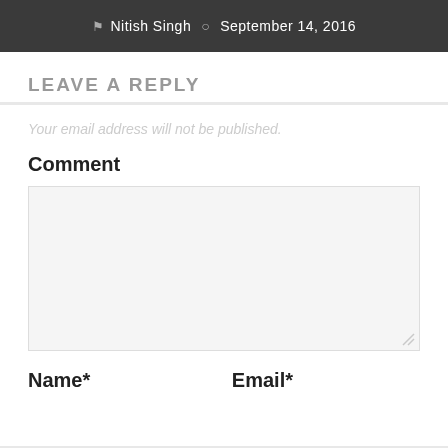Nitish Singh  September 14, 2016
LEAVE A REPLY
Your email address will not be published.
Comment
Name*
Email*